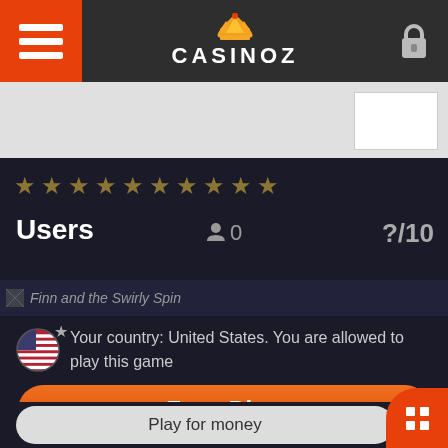CASINOZ
★ ★ ★ ★ ★ ★ ★ ★ ★ ★
Users   🧑 0   ?/10
[Figure (screenshot): Finn and the Swirly Spin game thumbnail]
Your country: United States. You are allowed to play this game
Free Play
Play for money